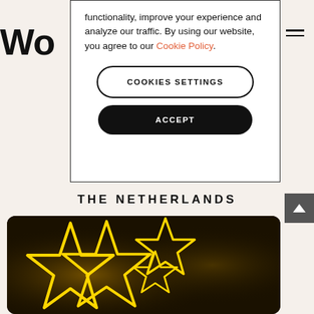W
functionality, improve your experience and analyze our traffic. By using our website, you agree to our Cookie Policy.
COOKIES SETTINGS
ACCEPT
THE NETHERLANDS
[Figure (photo): Yellow neon star-shaped lights on a dark surface]